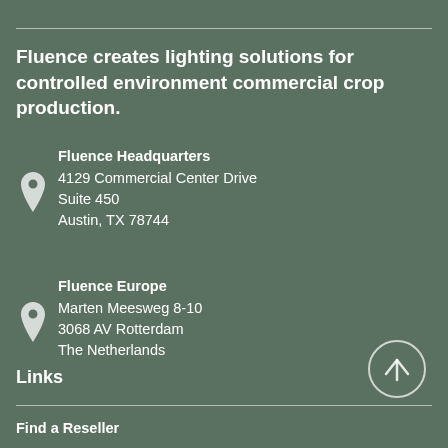Fluence creates lighting solutions for controlled environment commercial crop production.
Fluence Headquarters
4129 Commercial Center Drive
Suite 450
Austin, TX 78744
Fluence Europe
Marten Meesweg 8-10
3068 AV Rotterdam
The Netherlands
Links
Find a Reseller